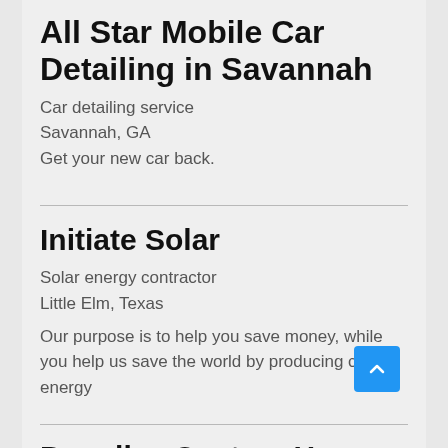All Star Mobile Car Detailing in Savannah
Car detailing service
Savannah, GA
Get your new car back.
Initiate Solar
Solar energy contractor
Little Elm, Texas
Our purpose is to help you save money, while you help us save the world by producing clean energy
Paradise Custom Homes